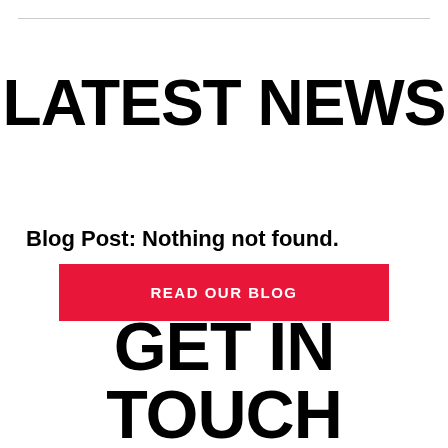LATEST NEWS
Blog Post: Nothing not found.
READ OUR BLOG
GET IN TOUCH